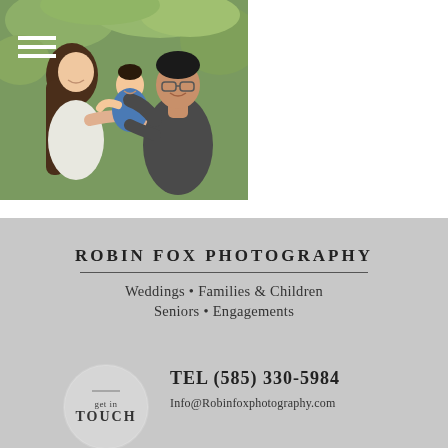[Figure (photo): Family photo outdoors in green garden setting: a woman with long brown hair, a man with glasses wearing a dark shirt, and a baby/toddler in a blue outfit. The man is holding the child while the woman leans in close smiling.]
ROBIN FOX PHOTOGRAPHY
Weddings • Families & Children
Seniors • Engagements
get in TOUCH
TEL (585) 330-5984
Info@Robinfoxphotography.com